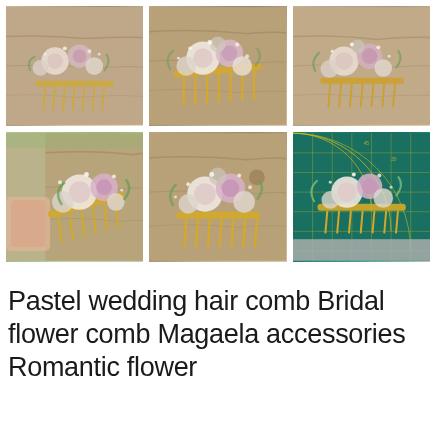[Figure (photo): Grid of 6 product photos showing pastel floral hair combs with pink, white, and lavender flowers on gold comb bases, displayed on wooden surfaces and a green cutting mat]
Pastel wedding hair comb Bridal flower comb Magaela accessories Romantic flower